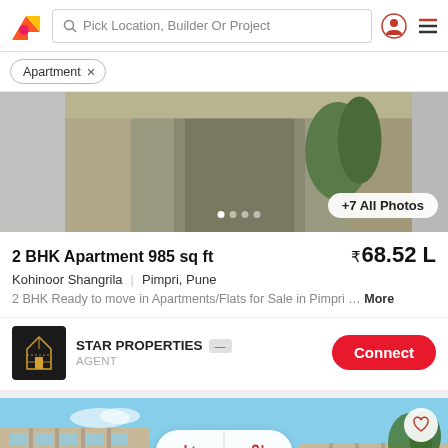Pick Location, Builder Or Project
Apartment ×
[Figure (photo): Property listing image strip with building exterior photo, carousel dots, and '+7 All Photos' button]
2 BHK Apartment 985 sq ft
₹68.52 L
Kohinoor Shangrila | Pimpri, Pune
2 BHK Ready to move in Apartments/Flats for Sale in Pimpri ... More
STAR PROPERTIES  AGENT
Connect
[Figure (photo): Second property listing image showing a modern apartment building exterior with blue sky background, sort and filter overlay buttons, and heart/save icon]